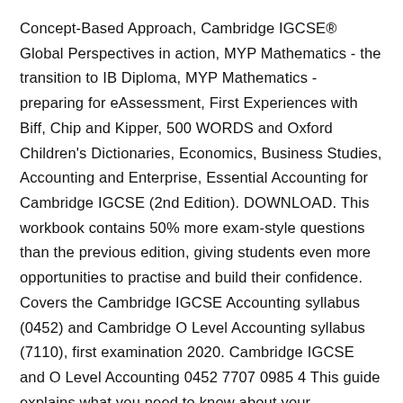Concept-Based Approach, Cambridge IGCSE® Global Perspectives in action, MYP Mathematics - the transition to IB Diploma, MYP Mathematics - preparing for eAssessment, First Experiences with Biff, Chip and Kipper, 500 WORDS and Oxford Children's Dictionaries, Economics, Business Studies, Accounting and Enterprise, Essential Accounting for Cambridge IGCSE (2nd Edition). DOWNLOAD. This workbook contains 50% more exam-style questions than the previous edition, giving students even more opportunities to practise and build their confidence. Covers the Cambridge IGCSE Accounting syllabus (0452) and Cambridge O Level Accounting syllabus (7110), first examination 2020. Cambridge IGCSE and O Level Accounting 0452 7707 0985 4 This guide explains what you need to know about your Cambridge...